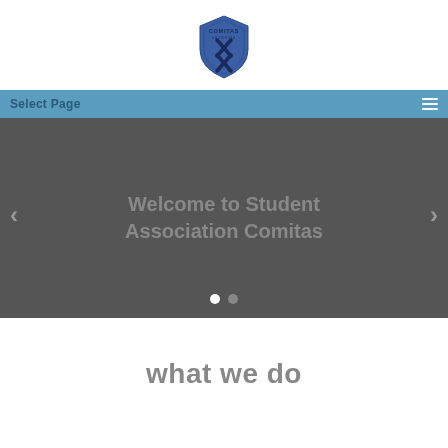[Figure (logo): Blue shield logo with 'COMITAS' text and two X marks (Amsterdam cross symbol) in dark navy blue]
Select Page
[Figure (screenshot): Website slider/carousel showing dark gray banner with text 'Welcome to Student Association Comitas', left and right navigation arrows, and two pagination dots at bottom]
what we do